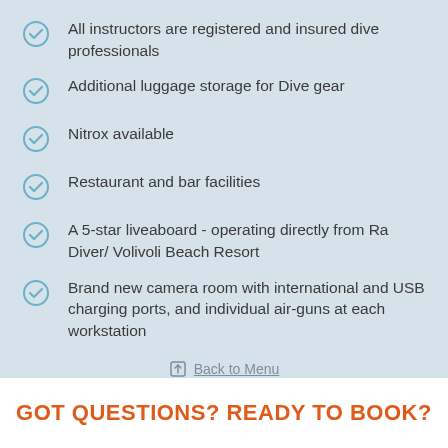All instructors are registered and insured dive professionals
Additional luggage storage for Dive gear
Nitrox available
Restaurant and bar facilities
A 5-star liveaboard - operating directly from Ra Diver/ Volivoli Beach Resort
Brand new camera room with international and USB charging ports, and individual air-guns at each workstation
Back to Menu
GOT QUESTIONS? READY TO BOOK?